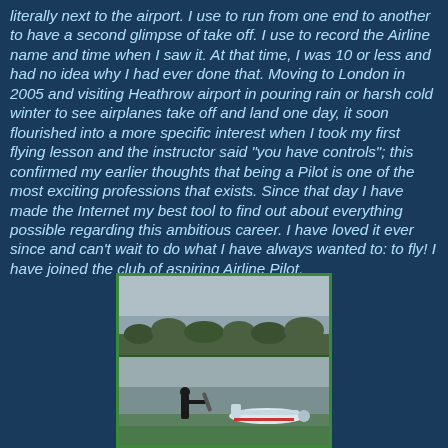literally next to the airport. I use to run from one end to another to have a second glimpse of take off. I use to record the Airline name and time when I saw it. At that time, I was 10 or less and had no idea why I had ever done that. Moving to London in 2005 and visiting Heathrow airport in pouring rain or harsh cold winter to see airplanes take off and land one day, it soon flourished into a more specific interest when I took my first flying lesson and the instructor said "you have controls"; this confirmed my earlier thoughts that being a Pilot is one of the most exciting professions that exists. Since that day I have made the Internet my best tool to find out about everything possible regarding this ambitious career. I have loved it ever since and can't wait to do what I have always wanted to: to fly! I have joined the club of aspiring Airline Pilot.
[Figure (photo): Two-panel photo showing an airfield scene: top half shows a landscape with trees and sky; bottom half shows a person standing near a small propeller aircraft on the ground.]